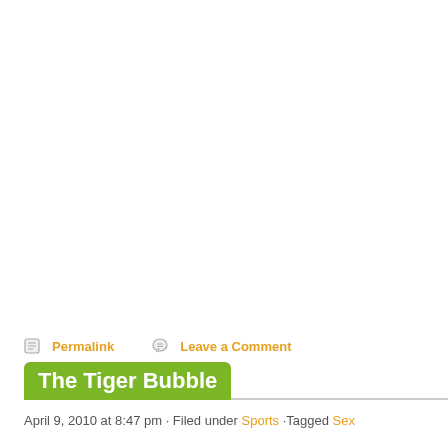Permalink   Leave a Comment
The Tiger Bubble
April 9, 2010 at 8:47 pm · Filed under Sports ·Tagged Sex